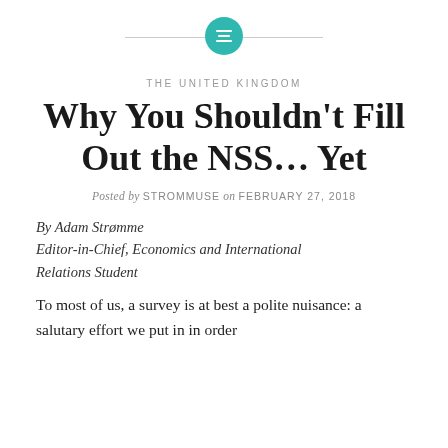[Figure (logo): Teal circular logo with three horizontal white lines, flanked by a thin gray horizontal rule]
THE UNITED KINGDOM
Why You Shouldn't Fill Out the NSS… Yet
Posted by STROMMUSE on FEBRUARY 27, 2018
By Adam Strømme
Editor-in-Chief, Economics and International Relations Student
To most of us, a survey is at best a polite nuisance: a salutary effort we put in in order